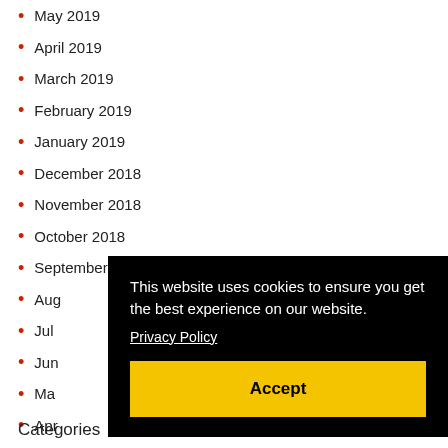May 2019
April 2019
March 2019
February 2019
January 2019
December 2018
November 2018
October 2018
September 2018
Aug…
Jul…
Jun…
Ma…
Apr…
Ma…
[Figure (screenshot): Cookie consent overlay with text: 'This website uses cookies to ensure you get the best experience on our website.' with a Privacy Policy link and an Accept button.]
Categories